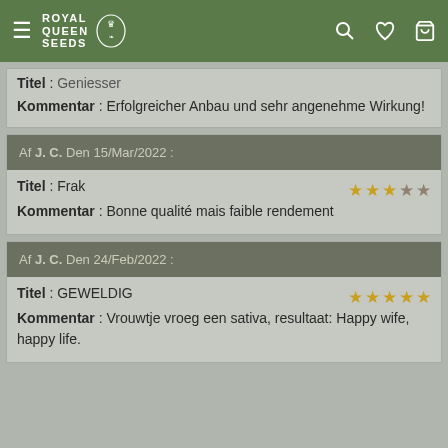Royal Queen Seeds navigation bar
Titel : Geniesser
Kommentar : Erfolgreicher Anbau und sehr angenehme Wirkung!
Af J. C. Den 15/Mar/2022 :
Titel : Frak
Kommentar : Bonne qualité mais faible rendement
Af J. C. Den 24/Feb/2022 :
Titel : GEWELDIG
Kommentar : Vrouwtje vroeg een sativa, resultaat: Happy wife, happy life.